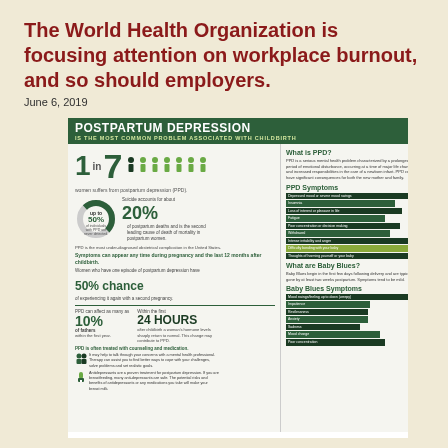The World Health Organization is focusing attention on workplace burnout, and so should employers.
June 6, 2019
[Figure (infographic): Infographic about Postpartum Depression (PPD). Header: POSTPARTUM DEPRESSION IS THE MOST COMMON PROBLEM ASSOCIATED WITH CHILDBIRTH. Content includes: 1 in 7 women suffers from postpartum depression (PPD); up to 50% of individuals with PPD are never detected; Suicide accounts for about 20% of postpartum deaths and is the second leading cause of death of mortality in postpartum women; Symptoms can appear any time during pregnancy and the last 12 months after childbirth; Women who have one episode of postpartum depression have 50% chance of experiencing it again with a second pregnancy; PPD can affect as many as 10% of fathers within the first year; Within the first 24 HOURS after childbirth a woman's hormone levels sharply return to normal — this change may contribute to PPD; PPD is often treated with counseling and medication. Right column: What is PPD? description, PPD Symptoms list (bars), What are Baby Blues? description, Baby Blues Symptoms list (bars).]